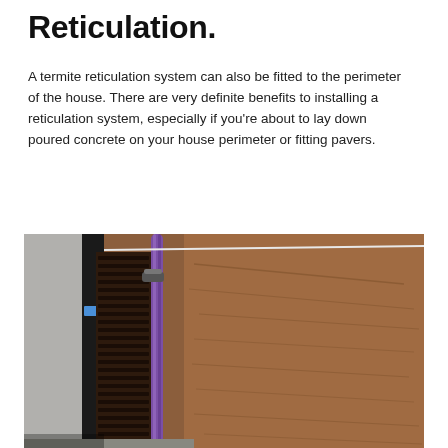Reticulation.
A termite reticulation system can also be fitted to the perimeter of the house. There are very definite benefits to installing a reticulation system, especially if you're about to lay down poured concrete on your house perimeter or fitting pavers.
[Figure (photo): Photograph showing a termite reticulation system installed along the perimeter of a house foundation. A purple pipe runs along a dark plastic reticulation channel/tray placed against the house wall. Brown soil/earth is visible to the right.]